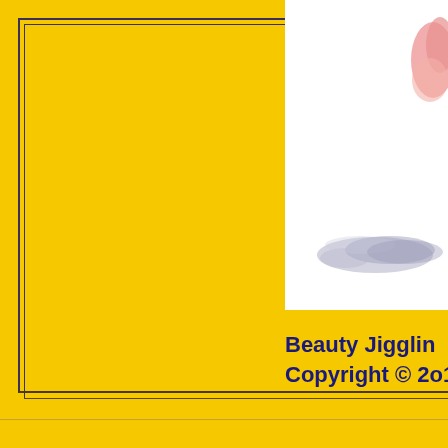[Figure (photo): Partial photo of a person showing a blurred hand/finger (pink, upper right) and a blurred grey shadow or hair element in the lower center-right, against a white background. The image is cropped and shown in the upper right portion of the page.]
Beauty Jigglin
Copyright © 2o1